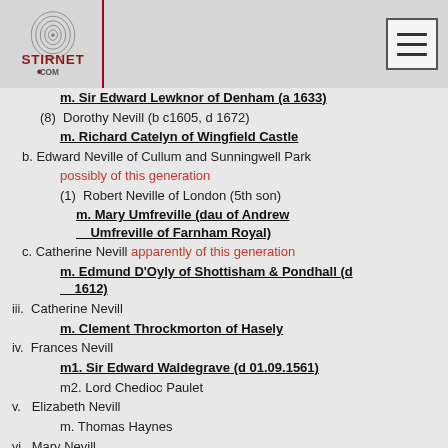Stirnet.com
m. Sir Edward Lewknor of Denham (a 1633)
(8) Dorothy Nevill (b c1605, d 1672)
m. Richard Catelyn of Wingfield Castle
b. Edward Neville of Cullum and Sunningwell Park possibly of this generation
(1) Robert Neville of London (5th son)
m. Mary Umfreville (dau of Andrew Umfreville of Farnham Royal)
c. Catherine Nevill apparently of this generation
m. Edmund D'Oyly of Shottisham & Pondhall (d 1612)
iii. Catherine Nevill
m. Clement Throckmorton of Hasely
iv. Frances Nevill
m1. Sir Edward Waldegrave (d 01.09.1561)
m2. Lord Chedioc Paulet
v. Elizabeth Nevill
m. Thomas Haynes
vi. Mary Nevill
m. Henry (not Edward) Dynely or Dingley (bur